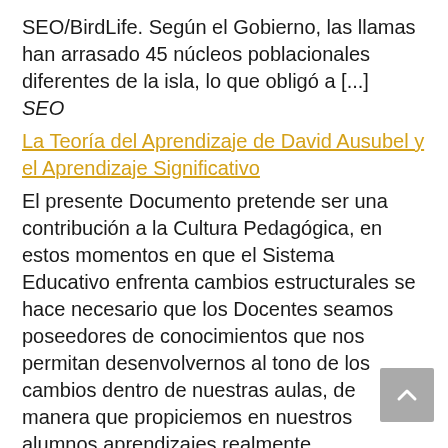SEO/BirdLife. Según el Gobierno, las llamas han arrasado 45 núcleos poblacionales diferentes de la isla, lo que obligó a [...]
SEO
La Teoría del Aprendizaje de David Ausubel y el Aprendizaje Significativo
El presente Documento pretende ser una contribución a la Cultura Pedagógica, en estos momentos en que el Sistema Educativo enfrenta cambios estructurales se hace necesario que los Docentes seamos poseedores de conocimientos que nos permitan desenvolvernos al tono de los cambios dentro de nuestras aulas, de manera que propiciemos en nuestros alumnos aprendizajes realmente significativos [...]